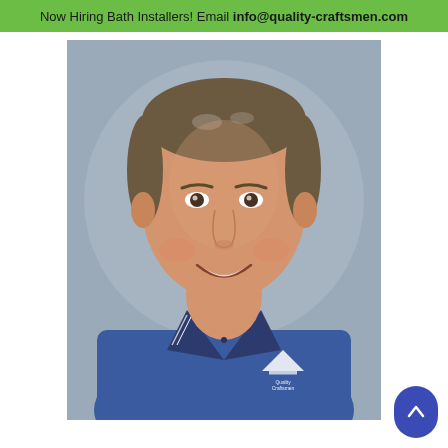Now Hiring Bath Installers! Email info@quality-craftsmen.com
[Figure (photo): Professional headshot of a middle-aged man smiling, wearing a blue polo shirt with a Quality Craftsmen logo on the chest, against a grey background.]